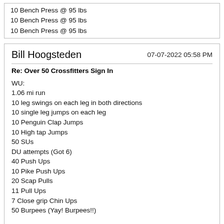10 Bench Press @ 95 lbs
10 Bench Press @ 95 lbs
10 Bench Press @ 95 lbs
Bill Hoogsteden
07-07-2022 05:58 PM
Re: Over 50 Crossfitters Sign In
WU:
1.06 mi run
10 leg swings on each leg in both directions
10 single leg jumps on each leg
10 Penguin Clap Jumps
10 High tap Jumps
50 SUs
DU attempts (Got 6)
40 Push Ups
10 Pike Push Ups
20 Scap Pulls
11 Pull Ups
7 Close grip Chin Ups
50 Burpees (Yay! Burpees!!)

WOD:
20 Wall Facing Handstand Push-ups
30 Deadlifts, 135 lbs
40 Sit-ups
50 Single Unders